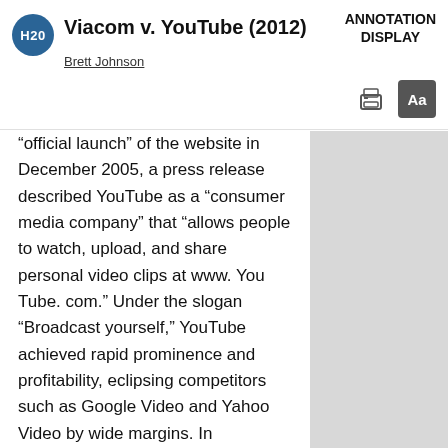Viacom v. YouTube (2012) — Brett Johnson — ANNOTATION DISPLAY
“official launch” of the website in December 2005, a press release described YouTube as a “consumer media company” that “allows people to watch, upload, and share personal video clips at www. You Tube. com.” Under the slogan “Broadcast yourself,” YouTube achieved rapid prominence and profitability, eclipsing competitors such as Google Video and Yahoo Video by wide margins. In November 2006, Google acquired YouTube in a stock-for-stock transaction valued at $1.65 billion. By March 2010, at the time of summary judgment, its first in this litigation, it